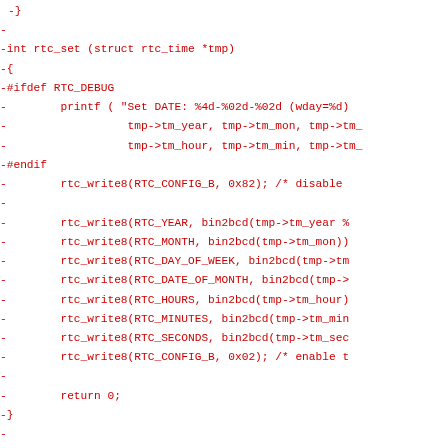Diff code block showing deleted lines from rtc driver source code in C, including rtc_set and rtc_reset functions with rtc_write8 calls.